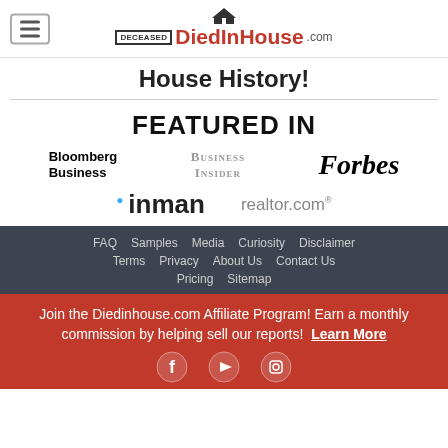DiedInHouse.com — navigation header with logo
House History!
FEATURED IN
[Figure (logo): Bloomberg Business logo]
[Figure (logo): Business Insider logo]
[Figure (logo): Forbes logo]
[Figure (logo): inman logo]
[Figure (logo): realtor.com logo]
FAQ  Samples  Media  Curiosity  Disclaimer  Terms  Privacy  About Us  Contact Us  Pricing  Sitemap
Join the Diedinhouse.com Affiliate Program! Earn a monthly commission by helping sell our reports! Learn More